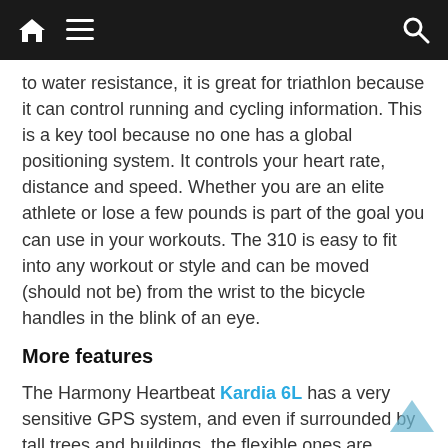Navigation bar with home, menu, and search icons
to water resistance, it is great for triathlon because it can control running and cycling information. This is a key tool because no one has a global positioning system. It controls your heart rate, distance and speed. Whether you are an elite athlete or lose a few pounds is part of the goal you can use in your workouts. The 310 is easy to fit into any workout or style and can be moved (should not be) from the wrist to the bicycle handles in the blink of an eye.
More features
The Harmony Heartbeat Kardia 6L has a very sensitive GPS system, and even if surrounded by tall trees and buildings, the flexible ones are quickly perceived. This can be done through the Garmin's